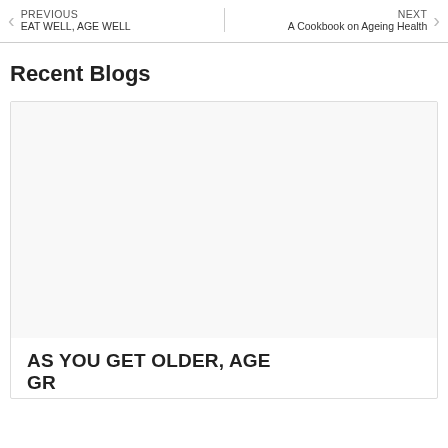PREVIOUS EAT WELL, AGE WELL | NEXT A Cookbook on Ageing Health
Recent Blogs
[Figure (photo): Blog card image placeholder (white/light gray rectangle)]
AS YOU GET OLDER, AGE GRACEFULLY